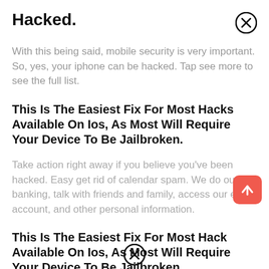Hacked.
With this being said, mobile security is very important. So, yes, your iphone can be hacked. Tap see more to see the full list.
This Is The Easiest Fix For Most Hacks Available On Ios, As Most Will Require Your Device To Be Jailbroken.
Take action right away if you believe you've been hacked. Easy get rid of calendar spam. We do our banking, talk with friends and family, access our email account, and other personal information.
This Is The Easiest Fix For Most Hacks Available On Ios, As Most Will Require Your Device To Be Jailbroken.